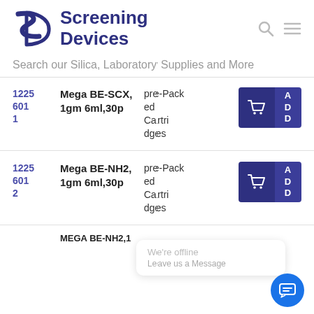[Figure (logo): SD Screening Devices logo with stylized SD letters and text]
Search our Silica, Laboratory Supplies and More
| ID | Name | Category | Actions |
| --- | --- | --- | --- |
| 12256011 | Mega BE-SCX, 1gm 6ml,30p | pre-Packed Cartridges | Add to cart |
| 12256012 | Mega BE-NH2, 1gm 6ml,30p | pre-Packed Cartridges | Add to cart |
We're offline
Leave us a Message